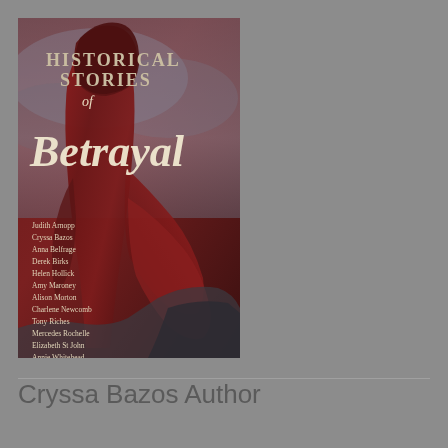[Figure (illustration): Book cover of 'Historical Stories of Betrayal' showing a robed figure in red/dark tones with a stormy sky background. Authors listed: Judith Arnopp, Cryssa Bazos, Anna Belfrage, Derek Birks, Helen Hollick, Amy Maroney, Alison Morton, Charlene Newcomb, Tony Riches, Mercedes Rochelle, Elizabeth St John, Annie Whitehead.]
Cryssa Bazos Author